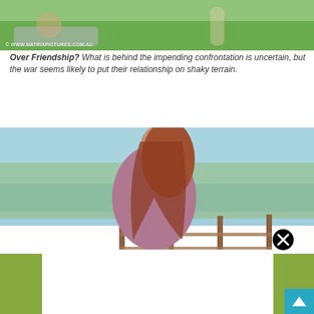[Figure (photo): Top portion of outdoor photo showing people on grass with watermark © WWW.MATRIXPICTURES.COM.AU]
Over Friendship? What is behind the impending confrontation is uncertain, but the war seems likely to put their relationship on shaky terrain.
[Figure (photo): Woman with long reddish-brown hair wearing a dusty pink/mauve jacket, viewed from behind, standing near a wooden fence with water and hills in background. A close/X button overlay is visible, and a white advertisement box overlaid at the bottom.]